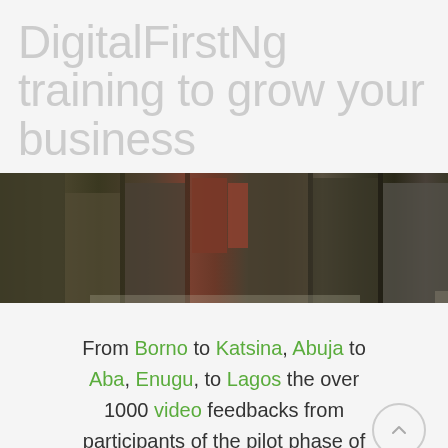DigitalFirstNg training to grow your business
[Figure (photo): A dark, close-up photo of people standing, showing their torsos and clothing, taken at what appears to be a training or event venue.]
From Borno to Katsina, Abuja to Aba, Enugu, to Lagos the over 1000 video feedbacks from participants of the pilot phase of